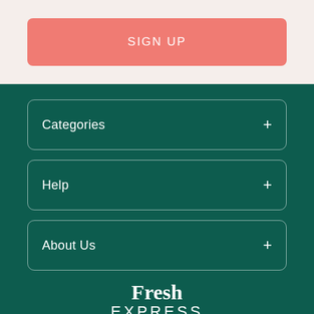SIGN UP
Categories +
Help +
About Us +
[Figure (logo): Fresh Express Est. 1993 logo with serif Fresh in bold and light-weight EXPRESS below]
Got questions?